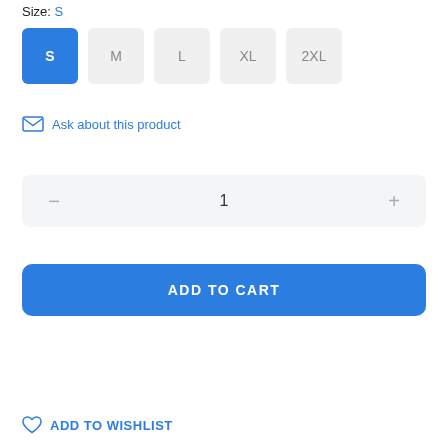Size: S
S
M
L
XL
2XL
Ask about this product
1
ADD TO CART
ADD TO WISHLIST